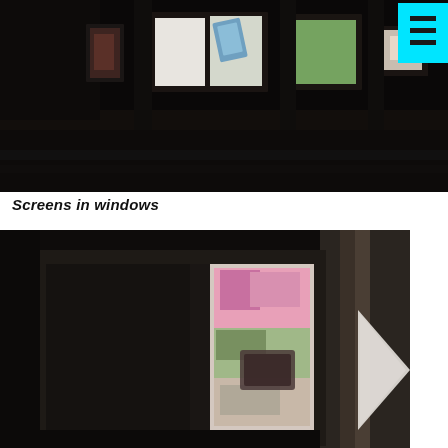[Figure (photo): A dark indoor room or gallery space with multiple windows. Each window contains a bright screen showing images or a device. The scene is very dark with the bright window screens providing contrast. A cyan hamburger menu button is visible in the top-right corner.]
Screens in windows
[Figure (photo): A close-up view of a dark room with a window divided into two panes. The left pane is dark/black and the right pane shows a brightly lit colorful image. A white triangular arrow or shape is visible on the right edge of the frame.]